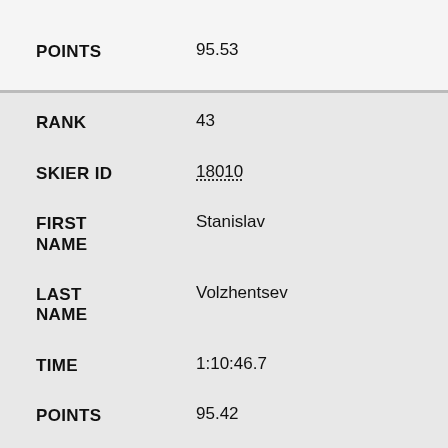| Field | Value |
| --- | --- |
| POINTS | 95.53 |
| RANK | 43 |
| SKIER ID | 18010 |
| FIRST NAME | Stanislav |
| LAST NAME | Volzhentsev |
| TIME | 1:10:46.7 |
| POINTS | 95.42 |
| RANK | 44 |
| SKIER ID | 20018 |
| FIRST | Finn Haagen |